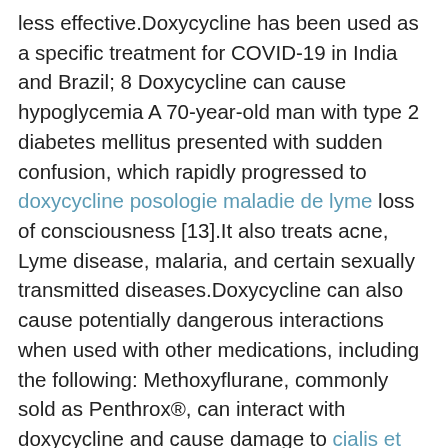less effective.Doxycycline has been used as a specific treatment for COVID-19 in India and Brazil; 8 Doxycycline can cause hypoglycemia A 70-year-old man with type 2 diabetes mellitus presented with sudden confusion, which rapidly progressed to doxycycline posologie maladie de lyme loss of consciousness [13].It also treats acne, Lyme disease, malaria, and certain sexually transmitted diseases.Doxycycline can also cause potentially dangerous interactions when used with other medications, including the following: Methoxyflurane, commonly sold as Penthrox®, can interact with doxycycline and cause damage to cialis et viagra the kidneys.But some forms of doxycycline are taken as 20 mg twice daily or 40 mg once daily.It is available in tablets, capsules, and an oral liquid formulation.However, there may be extreme circumstances under which the use of doxycycline may justify the risk Doxycycline (Vibramycin, Oracea,